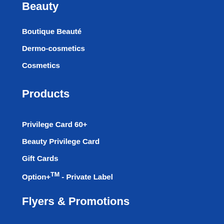Beauty
Boutique Beauté
Dermo-cosmetics
Cosmetics
Products
Privilege Card 60+
Beauty Privilege Card
Gift Cards
Option+TM - Private Label
Flyers & Promotions
Beauty and health notebooks